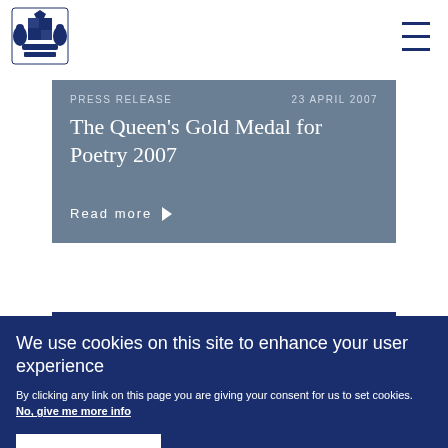[Figure (logo): Royal coat of arms / UK government logo in navy blue]
PRESS RELEASE   23 APRIL 2007
The Queen's Gold Medal for Poetry 2007
Read more
We use cookies on this site to enhance your user experience
By clicking any link on this page you are giving your consent for us to set cookies. No, give me more info
OK, I agree